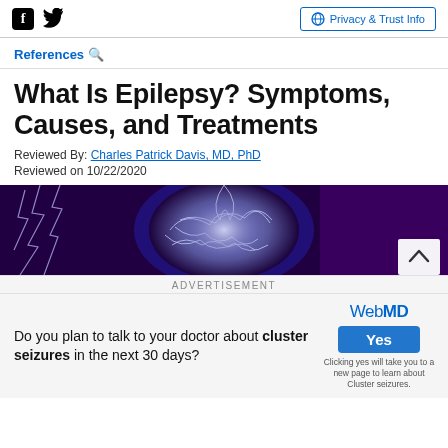Facebook icon, Twitter icon | Privacy & Trust Info
References 🔍
What Is Epilepsy? Symptoms, Causes, and Treatments
Reviewed By: Charles Patrick Davis, MD, PhD
Reviewed on 10/22/2020
[Figure (photo): Brain with lightning imagery on a dark purple background, representing epilepsy]
ADVERTISEMENT
Do you plan to talk to your doctor about cluster seizures in the next 30 days?
[Figure (other): WebMD logo with Yes button and fine print: Clicking yes will take you to a new page to learn about Cluster seizures.]